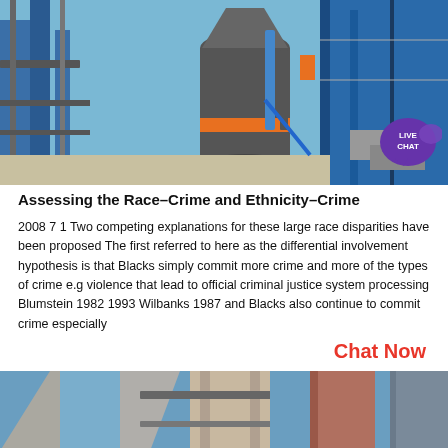[Figure (photo): Industrial machinery with blue metal structures, pipes, and a large cylindrical component, outdoor setting with construction materials.]
Assessing the Race–Crime and Ethnicity–Crime
2008 7 1 Two competing explanations for these large race disparities have been proposed The first referred to here as the differential involvement hypothesis is that Blacks simply commit more crime and more of the types of crime e.g violence that lead to official criminal justice system processing Blumstein 1982 1993 Wilbanks 1987 and Blacks also continue to commit crime especially
Chat Now
[Figure (photo): Industrial pipes and structural columns photographed from below, looking upward, with blue sky visible.]